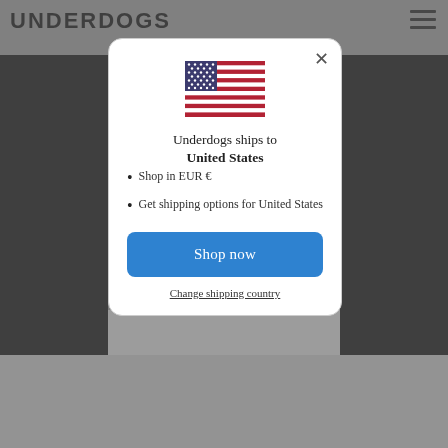UNDERDOGS
[Figure (screenshot): Website screenshot with grey/black background scene and navigation menu icon]
Underdogs ships to United States
Shop in EUR €
Get shipping options for United States
Shop now
Change shipping country